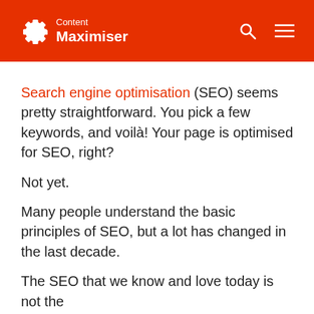Content Maximiser
Search engine optimisation (SEO) seems pretty straightforward. You pick a few keywords, and voilà! Your page is optimised for SEO, right?
Not yet.
Many people understand the basic principles of SEO, but a lot has changed in the last decade.
The SEO that we know and love today is not the